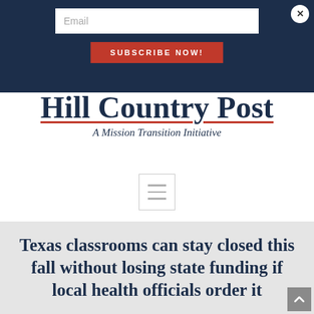[Figure (screenshot): Website header with dark navy background, email input field, red Subscribe Now button, and close X button]
Hill Country Post
A Mission Transition Initiative
[Figure (other): Hamburger menu navigation icon with three horizontal lines inside a bordered square]
Texas classrooms can stay closed this fall without losing state funding if local health officials order it